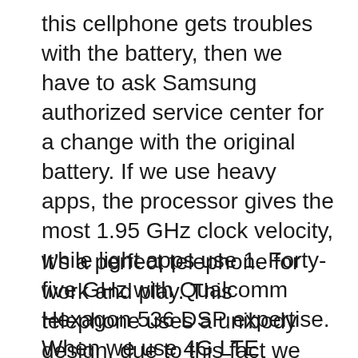this cellphone gets troubles with the battery, then we have to ask Samsung authorized service center for a change with the original battery. If we use heavy apps, the processor gives the most 1.95 GHz clock velocity, while light apps use 1. Forty-five GHz with Qualcomm Hexagon 536 DSP expertise. When we use 4G LTE broadband, this phone can deliver a hundred and fifty Mbps downstream and seventy-five Mbps upstream for any Internet exercise such as video streaming, games, and other work.
It’s a perfect telephone for work and play. This telephone uses a unibody design, due to this fact we can’t find a battery cover. We’re stuck with this cowl since it was sent as part of a gift to a different location & were